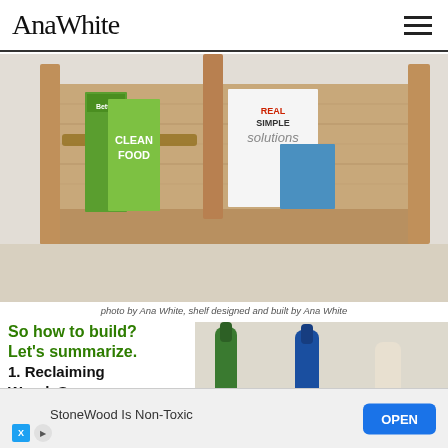Ana White
[Figure (photo): Wooden pallet shelf mounted on wall, holding magazines including 'Better', 'Clean Food', and 'Real Simple solutions']
photo by Ana White, shelf designed and built by Ana White
So how to build? Let's summarize.
1. Reclaiming Wood. Score a pallet with character
[Figure (photo): Partial photo showing glass bottles (green, blue) and other items on a shelf]
StoneWood Is Non-Toxic